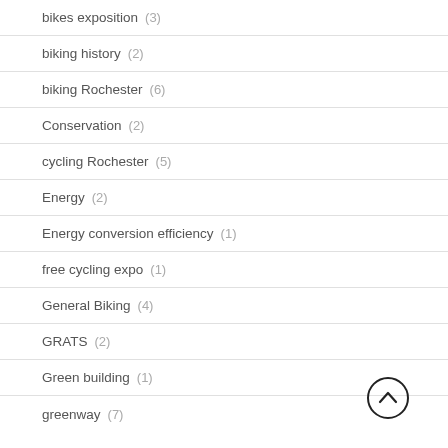bikes exposition (3)
biking history (2)
biking Rochester (6)
Conservation (2)
cycling Rochester (5)
Energy (2)
Energy conversion efficiency (1)
free cycling expo (1)
General Biking (4)
GRATS (2)
Green building (1)
greenway (7)
[Figure (illustration): Back to top button — circle with upward chevron arrow]